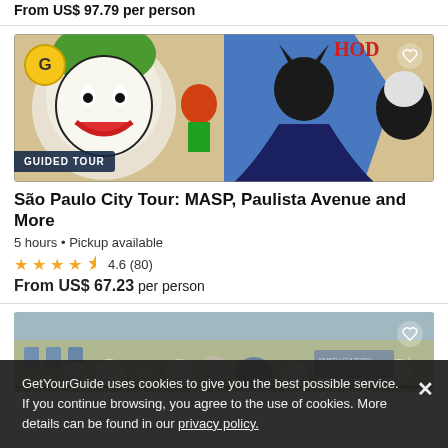From US$ 97.79 per person
[Figure (photo): Street art mural showing Joker, Robin, Batman and other comic characters in colorful graffiti style. Has a GUIDED TOUR badge and GetYourGuide logo badge. Heart icon in top right.]
São Paulo City Tour: MASP, Paulista Avenue and More
5 hours • Pickup available
4.6 (80)
From US$ 67.23 per person
[Figure (photo): Group of tourists posing in front of a building. Heart icon in top right.]
GetYourGuide uses cookies to give you the best possible service. If you continue browsing, you agree to the use of cookies. More details can be found in our privacy policy.